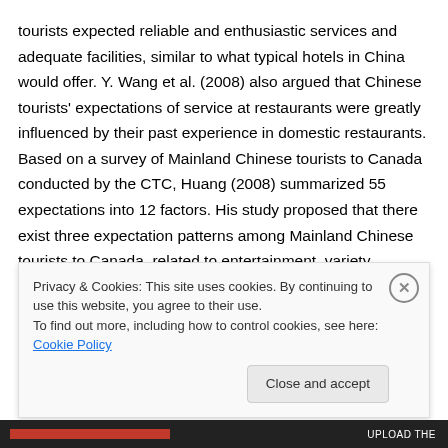tourists expected reliable and enthusiastic services and adequate facilities, similar to what typical hotels in China would offer. Y. Wang et al. (2008) also argued that Chinese tourists' expectations of service at restaurants were greatly influenced by their past experience in domestic restaurants. Based on a survey of Mainland Chinese tourists to Canada conducted by the CTC, Huang (2008) summarized 55 expectations into 12 factors. His study proposed that there exist three expectation patterns among Mainland Chinese tourists to Canada, related to entertainment, variety, cooking, and health/low price
Privacy & Cookies: This site uses cookies. By continuing to use this website, you agree to their use.
To find out more, including how to control cookies, see here: Cookie Policy